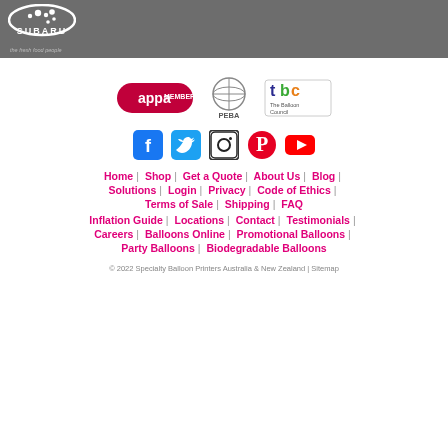SUBARU — the fresh food people
[Figure (logo): Association logos: appa MEMBER, PEBA, tbc The Balloon Council]
[Figure (infographic): Social media icons: Facebook, Twitter, Instagram, Pinterest, YouTube]
Home | Shop | Get a Quote | About Us | Blog | Solutions | Login | Privacy | Code of Ethics | Terms of Sale | Shipping | FAQ | Inflation Guide | Locations | Contact | Testimonials | Careers | Balloons Online | Promotional Balloons | Party Balloons | Biodegradable Balloons
© 2022 Specialty Balloon Printers Australia & New Zealand | Sitemap